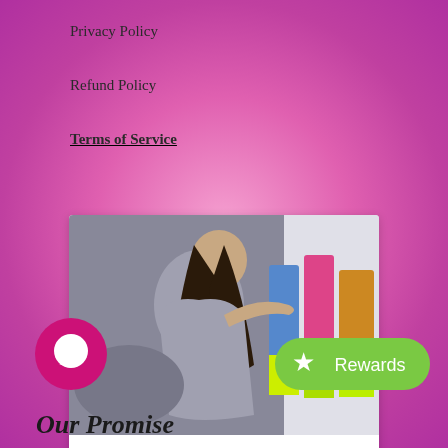Privacy Policy
Refund Policy
Terms of Service
[Figure (photo): Profile card showing a woman handling denim jackets, with cursive signature 'Shantavia Grier' and subtitle 'SERIAL ENTREPRENEUR•MENTOR•COACH•DOMESTIC ABUSE ADVOCATE']
[Figure (illustration): Pink circular chat/message icon]
[Figure (illustration): Green rounded rectangle Rewards button with star icon]
Our Promise